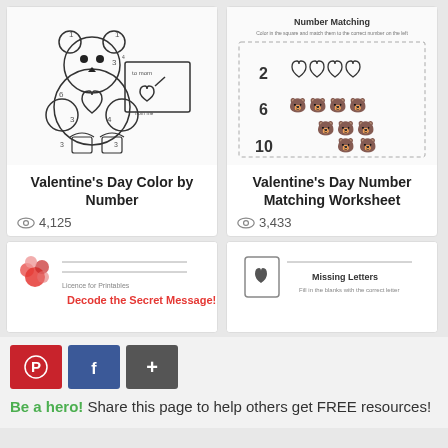[Figure (illustration): Valentine's Day color by number worksheet thumbnail showing a bear holding a heart card]
Valentine's Day Color by Number
4,125 views
[Figure (illustration): Valentine's Day number matching worksheet thumbnail showing hearts, bears and numbers 2, 6, 10]
Valentine's Day Number Matching Worksheet
3,433 views
[Figure (illustration): Decode the Secret Message worksheet thumbnail with red text]
[Figure (illustration): Missing Letters worksheet thumbnail with a heart card icon]
Be a hero! Share this page to help others get FREE resources!